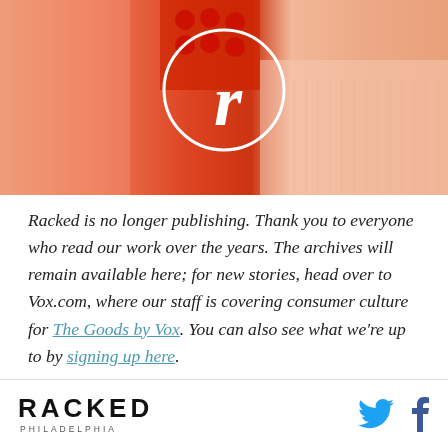[Figure (photo): Fashion photo showing models wearing orange/coral and peach pleated dresses/skirts with Racked logo circle overlay]
Racked is no longer publishing. Thank you to everyone who read our work over the years. The archives will remain available here; for new stories, head over to Vox.com, where our staff is covering consumer culture for The Goods by Vox. You can also see what we're up to by signing up here.
RACKED PHILADELPHIA